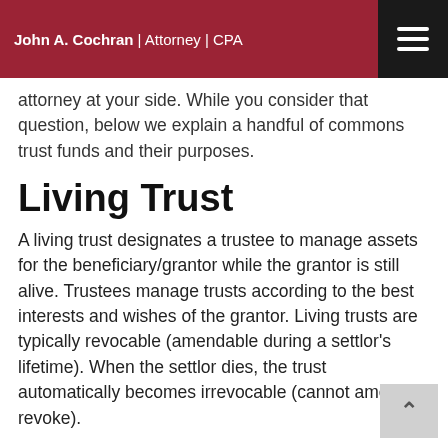John A. Cochran | Attorney | CPA
attorney at your side. While you consider that question, below we explain a handful of commons trust funds and their purposes.
Living Trust
A living trust designates a trustee to manage assets for the beneficiary/grantor while the grantor is still alive. Trustees manage trusts according to the best interests and wishes of the grantor. Living trusts are typically revocable (amendable during a settlor's lifetime). When the settlor dies, the trust automatically becomes irrevocable (cannot amend or revoke).
Testamentary Trusts